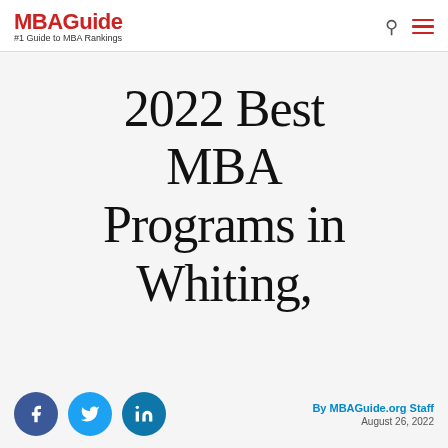MBAGuide #1 Guide to MBA Rankings
2022 Best MBA Programs in Whiting,
By MBAGuide.org Staff August 26, 2022